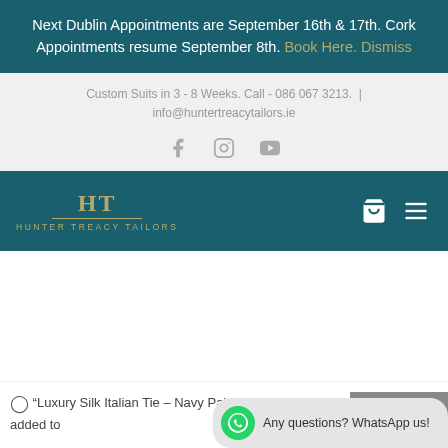Next Dublin Appointments are September 16th & 17th. Cork Appointments resume September 8th. Book Here. Dismiss
Custom Suits in 3 - 8 Weeks. Call - 086 067 3213.  |  info@huntertreacytailors.ie
[Figure (other): Social media icons: Facebook, Instagram, YouTube]
[Figure (logo): Hunter Treacy Tailors logo with monogram HT and gold text on teal navigation bar]
"Luxury Silk Italian Tie – Navy Paisley Tie" has been added to
Any questions? WhatsApp us!